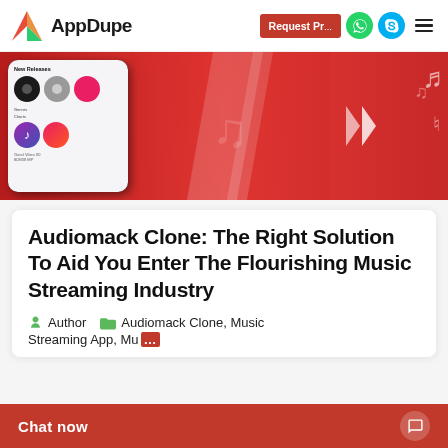[Figure (logo): AppDupe logo with red/green arrow icon and company name]
[Figure (screenshot): Hero banner showing music streaming app with phone mockup, two women listening to music, red background with diagonal chevron, music notes]
Audiomack Clone: The Right Solution To Aid You Enter The Flourishing Music Streaming Industry
Author   Audiomack Clone, Music Streaming App, Mu...
Chat now